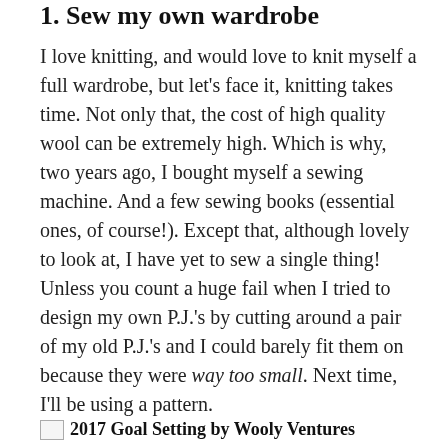1. Sew my own wardrobe
I love knitting, and would love to knit myself a full wardrobe, but let's face it, knitting takes time. Not only that, the cost of high quality wool can be extremely high. Which is why, two years ago, I bought myself a sewing machine. And a few sewing books (essential ones, of course!). Except that, although lovely to look at, I have yet to sew a single thing! Unless you count a huge fail when I tried to design my own P.J.'s by cutting around a pair of my old P.J.'s and I could barely fit them on because they were way too small. Next time, I'll be using a pattern.
2017 Goal Setting by Wooly Ventures